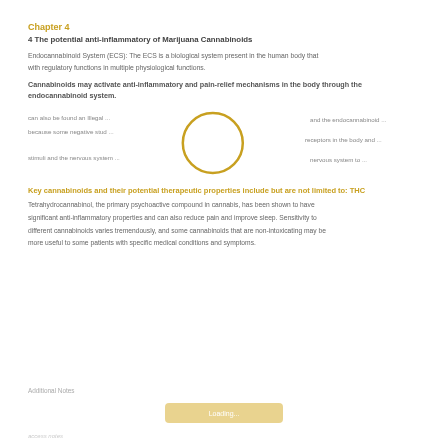Chapter 4
4 The potential anti-inflammatory of Marijuana Cannabinoids
Endocannabinoid System (ECS): The ECS is a biological system present in the human body that
with regulatory functions in multiple physiological functions.
Cannabinoids may activate anti-inflammatory and pain-relief mechanisms in the body through the endocannabinoid system.
[Figure (other): Diagram showing a circle (representing a cell or molecule) with surrounding text labels describing cannabinoid interactions. The circle is gold/yellow outlined.]
Key cannabinoids and their potential therapeutic properties include but are not limited to: THC Tetrahydrocannabinol, the primary psychoactive compound in cannabis, has been shown to have significant anti-inflammatory properties and can also reduce pain and improve sleep. Sensitivity to different cannabinoids varies tremendously.
Additional Notes